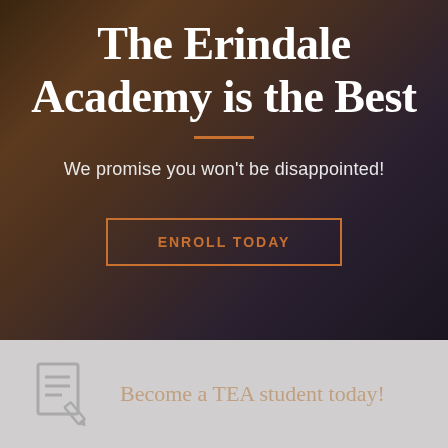The Erindale Academy is the Best
We promise you won't be disappointed!
ENROLL TODAY
[Figure (illustration): Document/notepad icon with pencil in white outline style on gray background]
Become a TEA student today!